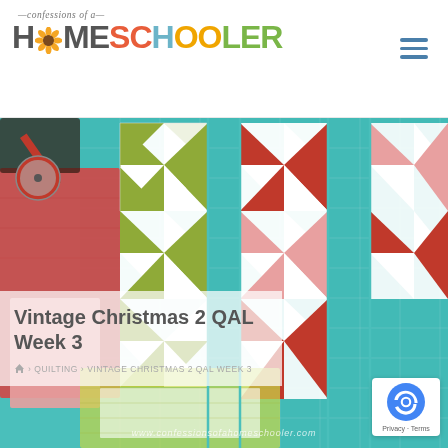confessions of a Homeschooler — logo with navigation hamburger menu
[Figure (photo): Quilt blocks in Christmas colors (red, pink, green, white) arranged on a teal cutting mat alongside a red rotary cutter. Pinwheel quilt pattern blocks displayed prominently.]
Vintage Christmas 2 QAL Week 3
Home > QUILTING > VINTAGE CHRISTMAS 2 QAL WEEK 3
www.confessionsofahomeschooler.com